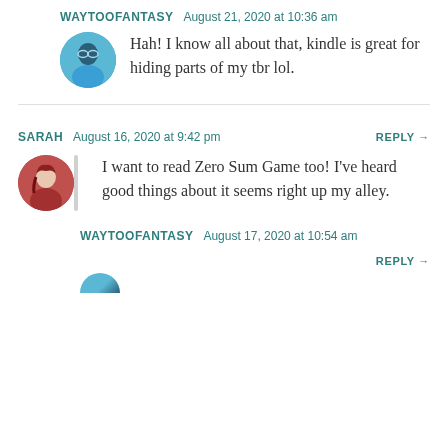WAYTOOFANTASY  August 21, 2020 at 10:36 am
Hah! I know all about that, kindle is great for hiding parts of my tbr lol.
SARAH  August 16, 2020 at 9:42 pm  REPLY →
I want to read Zero Sum Game too! I've heard good things about it seems right up my alley.
WAYTOOFANTASY  August 17, 2020 at 10:54 am  REPLY →